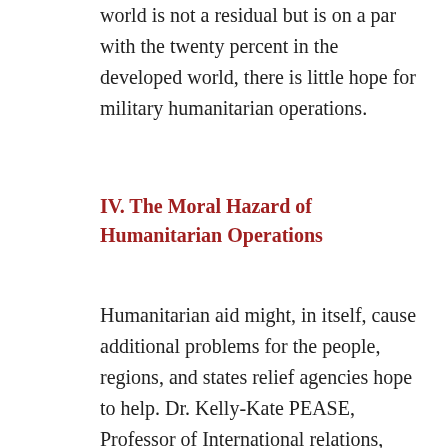world is not a residual but is on a par with the twenty percent in the developed world, there is little hope for military humanitarian operations.
IV. The Moral Hazard of Humanitarian Operations
Humanitarian aid might, in itself, cause additional problems for the people, regions, and states relief agencies hope to help. Dr. Kelly-Kate PEASE, Professor of International relations, Webster University, presented this theory in the next to the last paper for the conference. In reality, it should have been the first paper, for it might have greatly changed